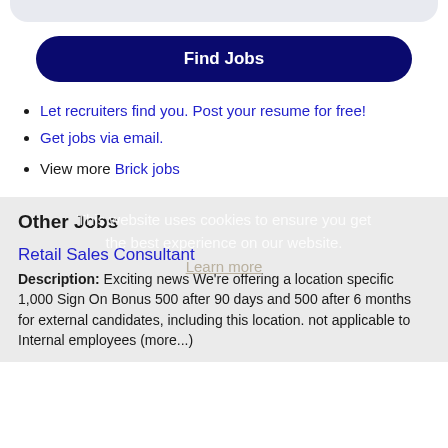Find Jobs
Let recruiters find you. Post your resume for free!
Get jobs via email.
View more Brick jobs
This website uses cookies to ensure you get the best experience on our website. Learn more
Other Jobs
Retail Sales Consultant
Description: Exciting news We're offering a location specific 1,000 Sign On Bonus 500 after 90 days and 500 after 6 months for external candidates, including this location. not applicable to Internal employees (more...)